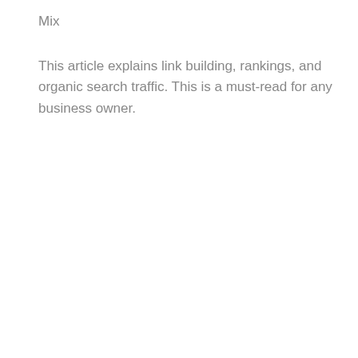Mix
This article explains link building, rankings, and organic search traffic. This is a must-read for any business owner.